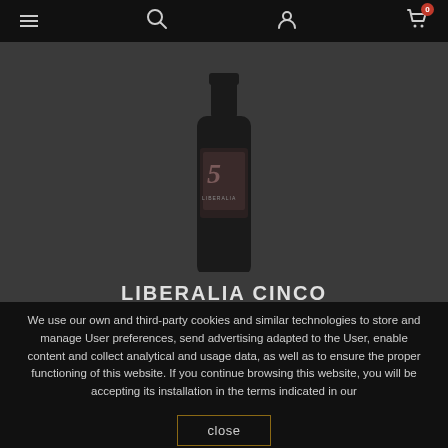Navigation bar with menu, search, user, and cart icons
[Figure (photo): Dark wine bottle with label showing a cursive '5' and text, centered on a dark gray background]
LIBERALIA CINCO
We use our own and third-party cookies and similar technologies to store and manage User preferences, send advertising adapted to the User, enable content and collect analytical and usage data, as well as to ensure the proper functioning of this website. If you continue browsing this website, you will be accepting its installation in the terms indicated in our
close